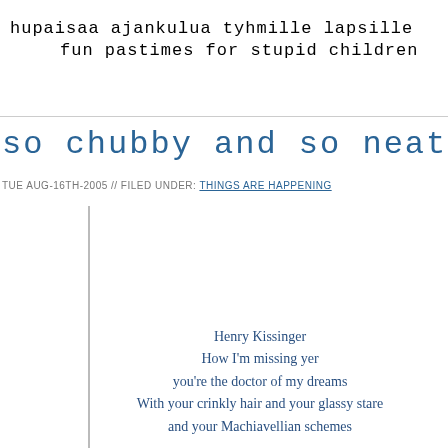hupaisaa ajankulua tyhmille lapsille
fun pastimes for stupid children
so chubby and so neat
TUE AUG-16TH-2005 // FILED UNDER: THINGS ARE HAPPENING
Henry Kissinger
How I'm missing yer
you're the doctor of my dreams
With your crinkly hair and your glassy stare
and your Machiavellian schemes
— Eric Idle, "Henry Kissinger Song"